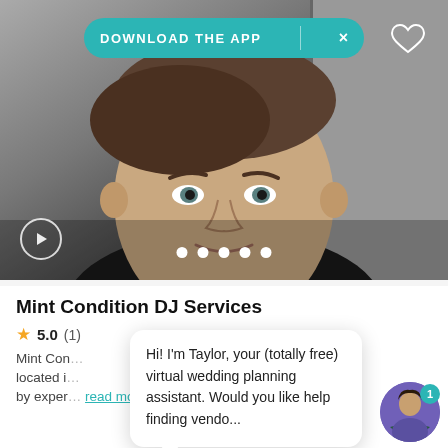[Figure (photo): Profile photo of a man (DJ vendor) with short dark hair and light eyes, smiling slightly, photographed indoors. A teal 'Download the App' banner with an X button is overlaid at the top, and a heart icon appears top-right. A play button is at the bottom-left, and five white dot navigation indicators at the bottom center.]
Mint Condition DJ Services
★ 5.0 (1)
Mint Con... vice located i... per by exper... read more
Hi! I'm Taylor, your (totally free) virtual wedding planning assistant. Would you like help finding vendo...